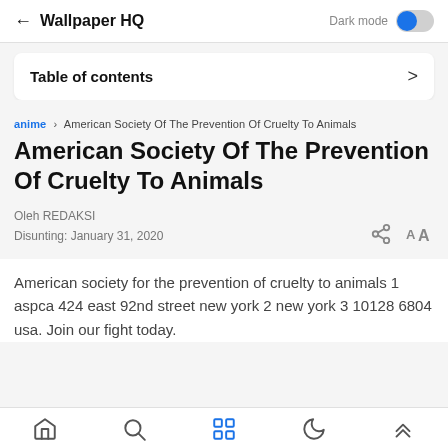← Wallpaper HQ  Dark mode [toggle]
Table of contents
anime › American Society Of The Prevention Of Cruelty To Animals
American Society Of The Prevention Of Cruelty To Animals
Oleh REDAKSI
Disunting: January 31, 2020
American society for the prevention of cruelty to animals 1 aspca 424 east 92nd street new york 2 new york 3 10128 6804 usa. Join our fight today.
[home] [search] [grid] [moon] [up]